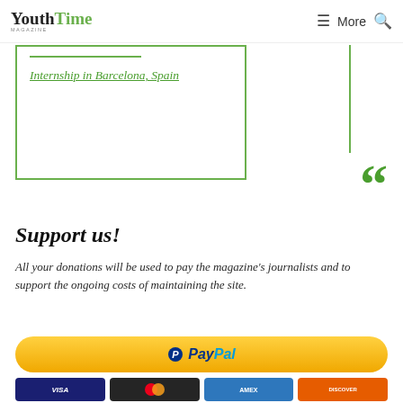YouthTime Magazine | More
Internship in Barcelona, Spain
[Figure (illustration): Large green opening double-quotation marks decorative element]
Support us!
All your donations will be used to pay the magazine's journalists and to support the ongoing costs of maintaining the site.
[Figure (logo): PayPal payment button — yellow rounded rectangle with PayPal logo]
[Figure (infographic): Row of payment card icons: Visa, Mastercard, Amex, Discover]